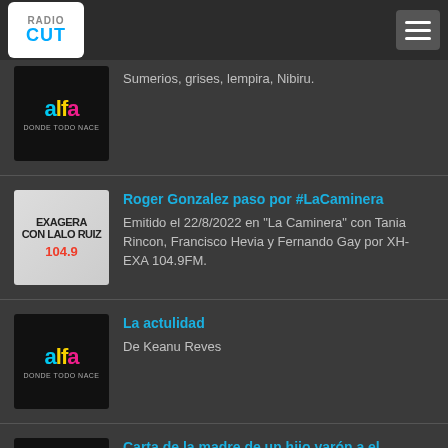RadioCut
Sumerios, grises, lempira, Nibiru.
Roger Gonzalez paso por #LaCaminera — Emitido el 22/8/2022 en "La Caminera" con Tania Rincon, Francisco Hevia y Fernando Gay por XH-EXA 104.9FM.
La actulidad — De Keanu Reves
Carta de la madre de un hijo varón a el — Carta de Regina Torres a su hijo varón